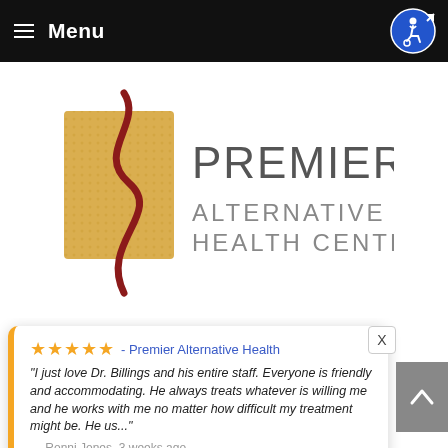≡ Menu
[Figure (logo): Premier Alternative Health Center logo with golden square, red spine curve, and gray text]
[Figure (screenshot): Review card: 5 gold stars, 'Premier Alternative Health', italic quote from Ronni Jones about Dr. Billings, 3 weeks ago, by Review Wave]